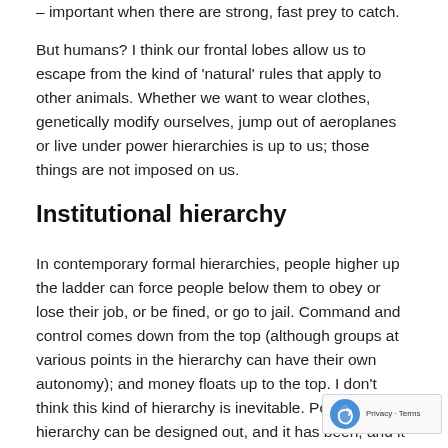– important when there are strong, fast prey to catch.
But humans? I think our frontal lobes allow us to escape from the kind of 'natural' rules that apply to other animals. Whether we want to wear clothes, genetically modify ourselves, jump out of aeroplanes or live under power hierarchies is up to us; those things are not imposed on us.
Institutional hierarchy
In contemporary formal hierarchies, people higher up the ladder can force people below them to obey or lose their job, or be fined, or go to jail. Command and control comes down from the top (although groups at various points in the hierarchy can have their own autonomy); and money floats up to the top. I don't think this kind of hierarchy is inevitable. Power hierarchy can be designed out, and it has been, and it works. It's hard to do it in capitalism, because all the money is